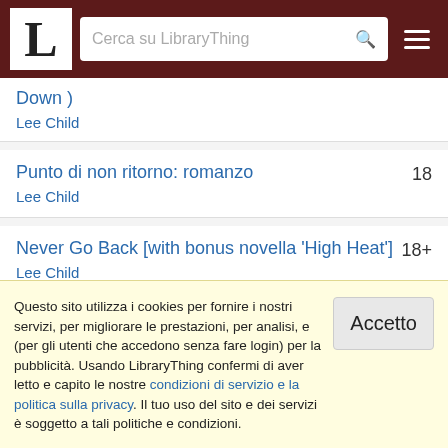LibraryThing - Cerca su LibraryThing
Down )
Lee Child
Punto di non ritorno: romanzo
Lee Child
18
Never Go Back [with bonus novella 'High Heat']
Lee Child
18+
Personal
Lee Child
19
Personal [with bonus short story 'Not a Drill']
19+
Questo sito utilizza i cookies per fornire i nostri servizi, per migliorare le prestazioni, per analisi, e (per gli utenti che accedono senza fare login) per la pubblicità. Usando LibraryThing confermi di aver letto e capito le nostre condizioni di servizio e la politica sulla privacy. Il tuo uso del sito e dei servizi è soggetto a tali politiche e condizioni.